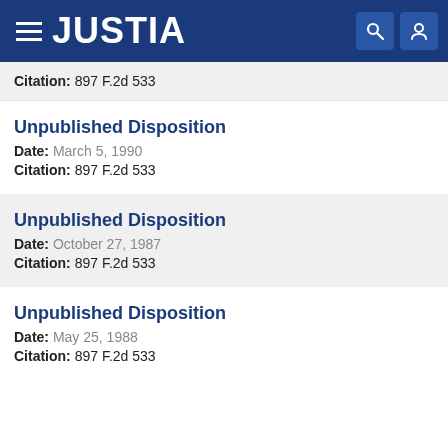JUSTIA
Citation: 897 F.2d 533
Unpublished Disposition
Date: March 5, 1990
Citation: 897 F.2d 533
Unpublished Disposition
Date: October 27, 1987
Citation: 897 F.2d 533
Unpublished Disposition
Date: May 25, 1988
Citation: 897 F.2d 533